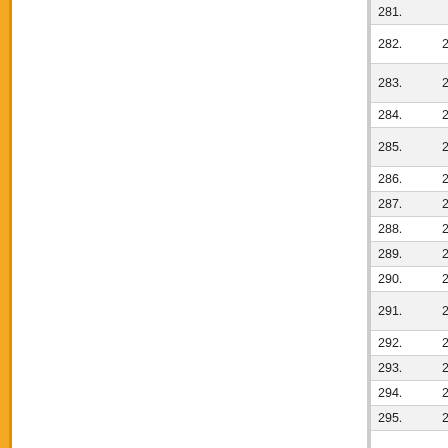| No. | Date | Title |
| --- | --- | --- |
| 281. |  | SET B |
| 282. | 26/07/2019 | B.ED. ADMI SET C |
| 283. | 26/07/2019 | B.ED. ADMI SET D |
| 284. | 25/07/2019 | Press releas |
| 285. | 24/07/2019 | Press releas Entrance Te |
| 286. | 24/07/2019 | Press releas |
| 287. | 24/07/2019 | Press releas |
| 288. | 23/07/2019 | Answer Key |
| 289. | 23/07/2019 | Question Bo |
| 290. | 23/07/2019 | Answer Key |
| 291. | 23/07/2019 | Question Bo Business M |
| 292. | 23/07/2019 | Question Bo |
| 293. | 23/07/2019 | Question Bo |
| 294. | 23/07/2019 | Question Bo |
| 295. | 23/07/2019 | Question |